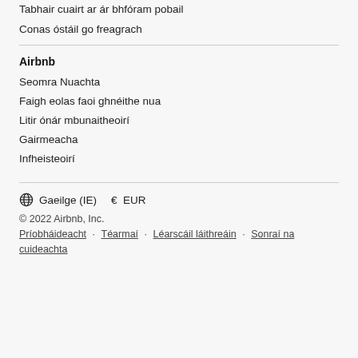Tabhair cuairt ar ár bhfóram pobail
Conas óstáil go freagrach
Airbnb
Seomra Nuachta
Faigh eolas faoi ghnéithe nua
Litir ónár mbunaitheoirí
Gairmeacha
Infheisteoirí
Gaeilge (IE)  €  EUR
© 2022 Airbnb, Inc.
Príobháideacht · Téarmaí · Léarscáil láithreáin · Sonraí na cuideachta